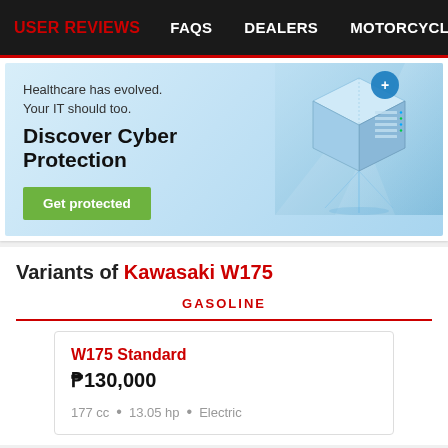USER REVIEWS   FAQs   DEALERS   MOTORCYCLE INSURANCE
[Figure (illustration): Advertisement banner for Cyber Protection: 'Healthcare has evolved. Your IT should too. Discover Cyber Protection' with a Get protected button and isometric IT/server illustration on the right.]
Variants of Kawasaki W175
GASOLINE
W175 Standard
₱130,000
177 cc  •  13.05 hp  •  Electric